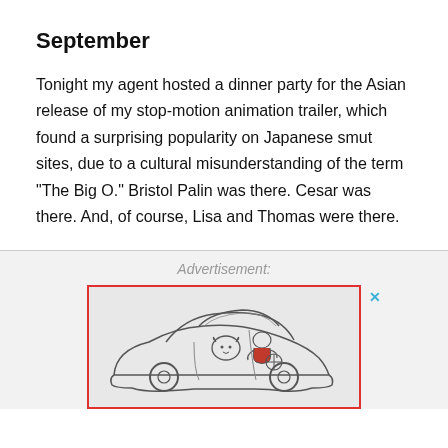September
Tonight my agent hosted a dinner party for the Asian release of my stop-motion animation trailer, which found a surprising popularity on Japanese smut sites, due to a cultural misunderstanding of the term "The Big O." Bristol Palin was there. Cesar was there. And, of course, Lisa and Thomas were there.
Advertisement:
[Figure (illustration): Illustration of a cartoon car with a person in a red top driving, viewed through the windshield, inside a red-bordered advertisement box.]